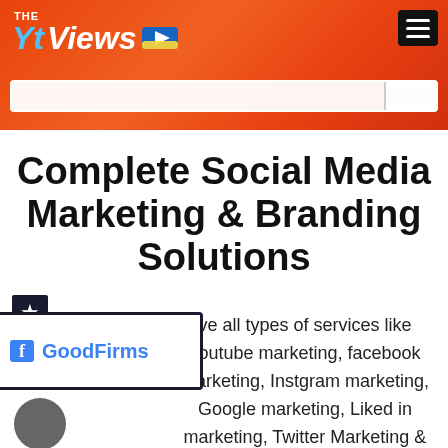THE Yt Views [logo with play button]
[Figure (screenshot): Website screenshot showing The Yt Views logo on orange-red gradient header with hamburger menu and search bar]
Complete Social Media Marketing & Branding Solutions
[Figure (logo): GoodFirms badge/logo with blue 'f' icon and GoodFirms text]
ve all types of services like youtube marketing, facebook marketing, Instgram marketing, Google marketing, Liked in marketing, Twitter Marketing & many more.